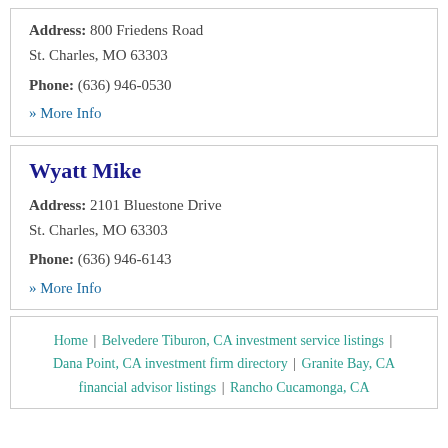Address: 800 Friedens Road St. Charles, MO 63303 Phone: (636) 946-0530
» More Info
Wyatt Mike
Address: 2101 Bluestone Drive St. Charles, MO 63303 Phone: (636) 946-6143
» More Info
Home | Belvedere Tiburon, CA investment service listings | Dana Point, CA investment firm directory | Granite Bay, CA financial advisor listings | Rancho Cucamonga, CA